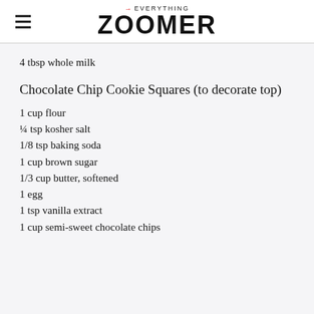→EVERYTHING ZOOMER
4 tbsp whole milk
Chocolate Chip Cookie Squares (to decorate top)
1 cup flour
¼ tsp kosher salt
1/8 tsp baking soda
1 cup brown sugar
1/3 cup butter, softened
1 egg
1 tsp vanilla extract
1 cup semi-sweet chocolate chips